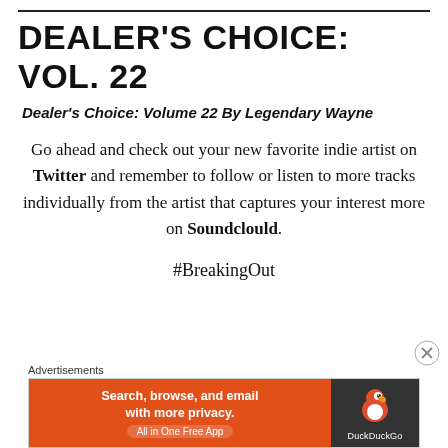DEALER'S CHOICE: VOL. 22
Dealer's Choice: Volume 22 By Legendary Wayne
Go ahead and check out your new favorite indie artist on Twitter and remember to follow or listen to more tracks individually from the artist that captures your interest more on Soundclould.
#BreakingOut
Advertisements
[Figure (other): DuckDuckGo advertisement banner: 'Search, browse, and email with more privacy. All in One Free App' on orange background with DuckDuckGo duck logo on dark background.]